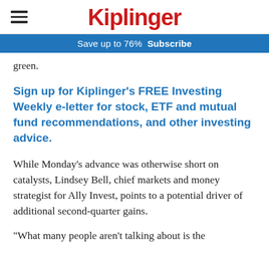Kiplinger
Save up to 76%  Subscribe
green.
Sign up for Kiplinger's FREE Investing Weekly e-letter for stock, ETF and mutual fund recommendations, and other investing advice.
While Monday’s advance was otherwise short on catalysts, Lindsey Bell, chief markets and money strategist for Ally Invest, points to a potential driver of additional second-quarter gains.
"What many people aren't talking about is the